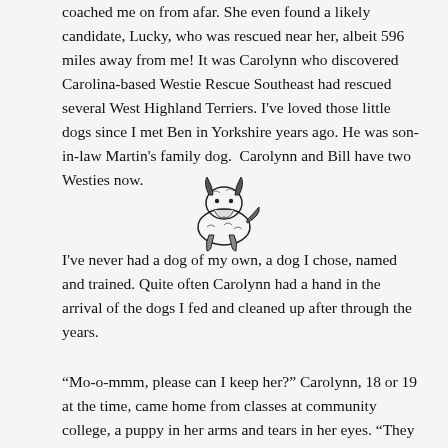coached me on from afar. She even found a likely candidate, Lucky, who was rescued near her, albeit 596 miles away from me! It was Carolynn who discovered Carolina-based Westie Rescue Southeast had rescued several West Highland Terriers. I've loved those little dogs since I met Ben in Yorkshire years ago. He was son-in-law Martin's family dog.  Carolynn and Bill have two Westies now.
[Figure (illustration): Black and white illustration of a small terrier dog sitting, drawn in a classic engraving style.]
I've never had a dog of my own, a dog I chose, named and trained. Quite often Carolynn had a hand in the arrival of the dogs I fed and cleaned up after through the years.
“Mo-o-mmm, please can I keep her?” Carolynn, 18 or 19 at the time, came home from classes at community college, a puppy in her arms and tears in her eyes. “They